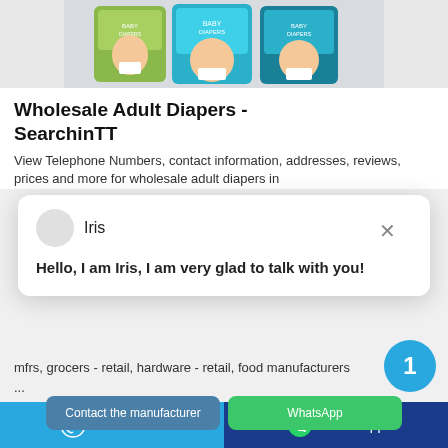[Figure (photo): Product photo showing baby diaper packages with babies on the packaging, teal/green and white colored boxes]
Wholesale Adult Diapers - SearchinTT
View Telephone Numbers, contact information, addresses, reviews, prices and more for wholesale adult diapers in
[Figure (screenshot): Chat popup with avatar circle and name Iris, message: Hello, I am Iris, I am very glad to talk with you!, and a close X button]
mfrs, grocers - retail, hardware - retail, food manufacturers ...
[Figure (other): Circular notification badge with number 1 in teal blue]
Contact the manufacturer
WhatsApp
Chat online
WhatsApp